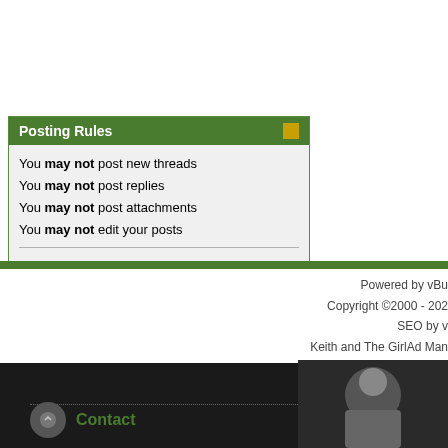Posting Rules
You may not post new threads
You may not post replies
You may not post attachments
You may not edit your posts
BB code is On
Smilies are On
[IMG] code is On
HTML code is Off
Trackbacks are On
Pingbacks are On
Refbacks are Off
Forum Rules
All times are GMT -5. T
Powered by vBu
Copyright ©2000 - 202
SEO by v
Keith and The GirlAd Man
Contact